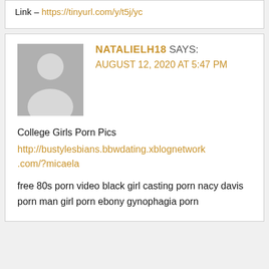Link – https://tinyurl.com/y/t5j/yc
NATALIELH18 SAYS: AUGUST 12, 2020 AT 5:47 PM
[Figure (illustration): Gray placeholder avatar silhouette of a person]
College Girls Porn Pics
http://bustylesbians.bbwdating.xblognetwork.com/?micaela
free 80s porn video black girl casting porn nacy davis porn man girl porn ebony gynophagia porn